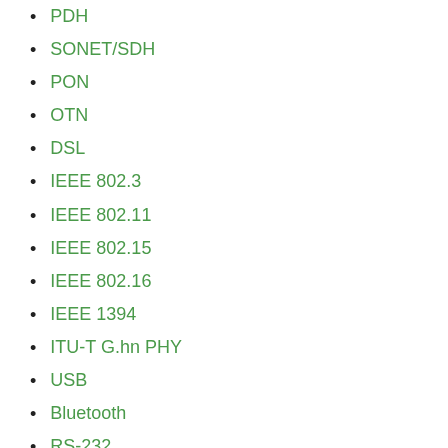PDH
SONET/SDH
PON
OTN
DSL
IEEE 802.3
IEEE 802.11
IEEE 802.15
IEEE 802.16
IEEE 1394
ITU-T G.hn PHY
USB
Bluetooth
RS-232
RS-449
Layer 2, Data Link
ARCnet Attached Resource Computer NETwork
CDP Cisco Discovery Protocol